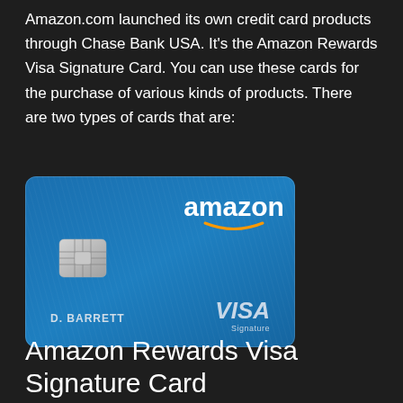Amazon.com launched its own credit card products through Chase Bank USA. It's the Amazon Rewards Visa Signature Card. You can use these cards for the purchase of various kinds of products. There are two types of cards that are:
[Figure (photo): Amazon Rewards Visa Signature Card - a blue credit card with the Amazon logo and smile in white at the top right, a silver EMV chip on the left, cardholder name D. BARRETT at the bottom left, and VISA Signature logo at the bottom right.]
Amazon Rewards Visa Signature Card